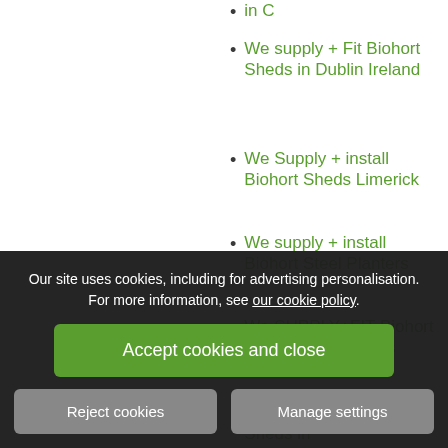in C
We supply + Fit Biohort Sheds in Dublin Ireland
We Supply + install Biohort Sheds Limerick
We supply + install Biohort Steel Planters
We SUPPLY+FIT Biohort Europa Steel Sheds
We Supply+Fit Biohort Sheds in ...
Our site uses cookies, including for advertising personalisation. For more information, see our cookie policy.
Accept cookies and close
Reject cookies
Manage settings